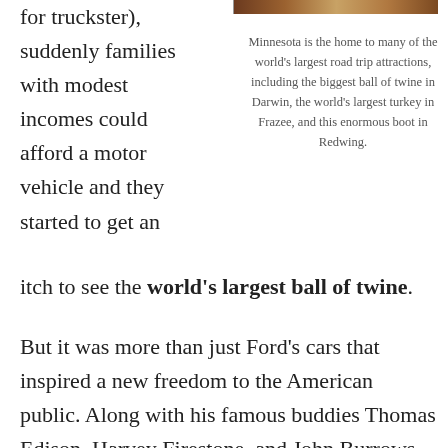[Figure (photo): Partial photo visible at top of page, showing a brown/orange subject (likely large boot or attraction)]
for truckster), suddenly families with modest incomes could afford a motor vehicle and they started to get an itch to see the world's largest ball of twine.
Minnesota is the home to many of the world's largest road trip attractions, including the biggest ball of twine in Darwin, the world's largest turkey in Frazee, and this enormous boot in Redwing.
But it was more than just Ford's cars that inspired a new freedom to the American public. Along with his famous buddies Thomas Edison, Harvey Firestone, and John Burrows, Henry Ford embarked on a series of more or less annual road trips across various parts of the country between the years 1914 to 1924.